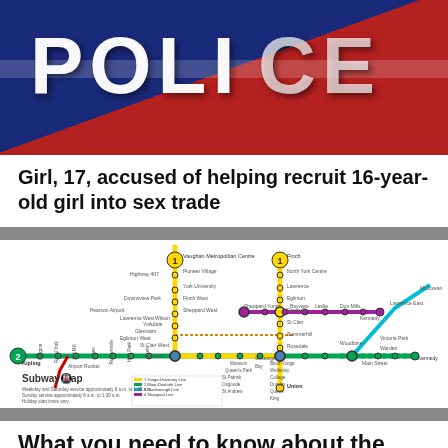[Figure (photo): Close-up photograph of a police vehicle showing the word POLICE in large white letters on a blue and red background]
Girl, 17, accused of helping recruit 16-year-old girl into sex trade
[Figure (map): Toronto Transit Commission (TTC) Subway Map showing all four lines: 1 Yonge-University Line (yellow), 2 Bloor-Danforth Line (green), 3 Scarborough Line (blue), 4 Sheppard Line (purple), with all stations labeled and interchange stations marked. Includes legend and service hours note.]
What you need to know about the new Line 1 subway